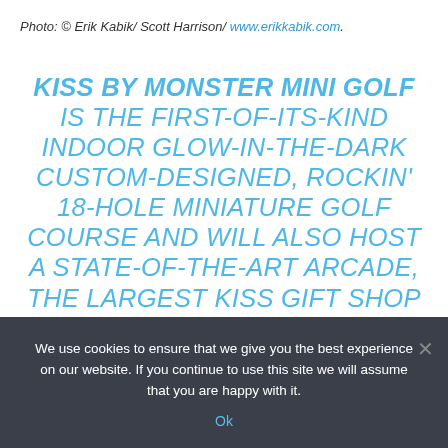Photo: © Erik Kabik/ Scott Harrison/ www.erikkabik.com.
KISS BY MONSTER MINI GOLF IS THE FIRST-OF-ITS-KIND INDOOR GLOW-IN-THE-DARK CUSTOM-DESIGNED, ROCKIN' 18-HOLE MINIATURE GOLF COURSE AND WILL ALSO HOST A STATE-OF-THE-ART ARCADE, THE LARGEST KISS GIFT SHOP IN THE WORLD, A KISS GALLERY, THE "HOTTER THAN HELL" WEDDING...
We use cookies to ensure that we give you the best experience on our website. If you continue to use this site we will assume that you are happy with it. Ok